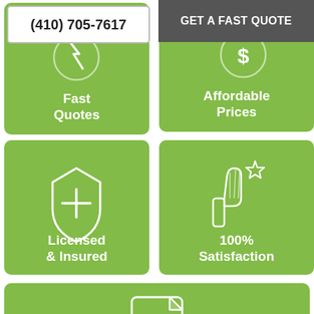(410) 705-7617
GET A FAST QUOTE
[Figure (illustration): Green card with speed/lightning icon at top, text 'Fast Quotes' at bottom]
Fast
Quotes
[Figure (illustration): Green card with dollar/price icon at top, text 'Affordable Prices' at bottom]
Affordable
Prices
[Figure (illustration): Green card with shield plus icon, text 'Licensed & Insured']
Licensed
& Insured
[Figure (illustration): Green card with thumbs up and star icon, text '100% Satisfaction']
100%
Satisfaction
[Figure (illustration): Wide green card with certificate/document icon, text 'Warrantied Service']
Warrantied
Service